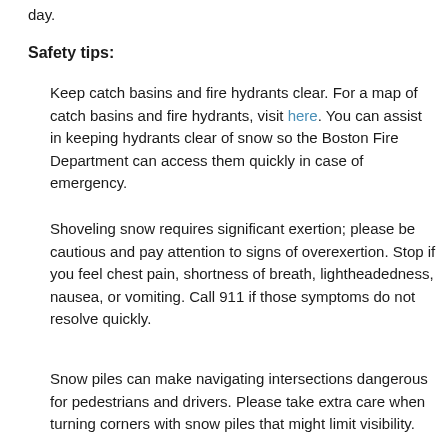day.
Safety tips:
Keep catch basins and fire hydrants clear. For a map of catch basins and fire hydrants, visit here. You can assist in keeping hydrants clear of snow so the Boston Fire Department can access them quickly in case of emergency.
Shoveling snow requires significant exertion; please be cautious and pay attention to signs of overexertion. Stop if you feel chest pain, shortness of breath, lightheadedness, nausea, or vomiting. Call 911 if those symptoms do not resolve quickly.
Snow piles can make navigating intersections dangerous for pedestrians and drivers. Please take extra care when turning corners with snow piles that might limit visibility.